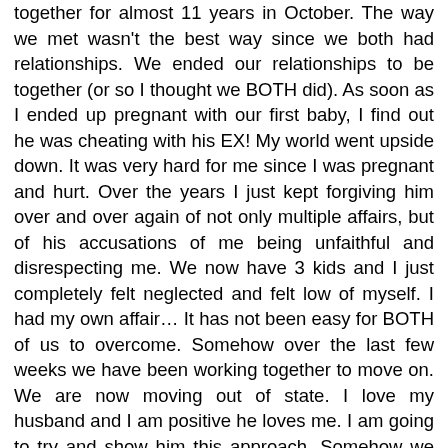together for almost 11 years in October. The way we met wasn't the best way since we both had relationships. We ended our relationships to be together (or so I thought we BOTH did). As soon as I ended up pregnant with our first baby, I find out he was cheating with his EX! My world went upside down. It was very hard for me since I was pregnant and hurt. Over the years I just kept forgiving him over and over again of not only multiple affairs, but of his accusations of me being unfaithful and disrespecting me. We now have 3 kids and I just completely felt neglected and felt low of myself. I had my own affair… It has not been easy for BOTH of us to overcome. Somehow over the last few weeks we have been working together to move on. We are now moving out of state. I love my husband and I am positive he loves me. I am going to try and show him this approach. Somehow we were already doing it! We have a better communication than we've had in years! We are learning how to speak calmly out feelings and concerns. It hasn't been peachy, but I can see that we both are starting to respect eachother. We care for each other's feelings. We have US a main priority. We aren't taking counseling, but somehow we see that little by little we seem more comfortable with eachother. Sometimes we may notice how